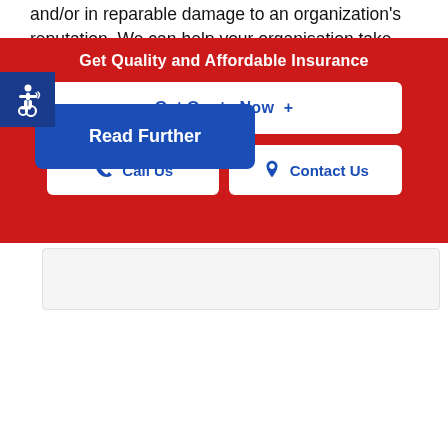and/or in repairable damage to an organization's reputation. We can help your organisation take coverage for this.
[Figure (illustration): Blue square accessibility icon with wheelchair symbol in white]
Read Further
Get Quality and Affordable Insurance
Get Quote Now  +
Call Us
Contact Us